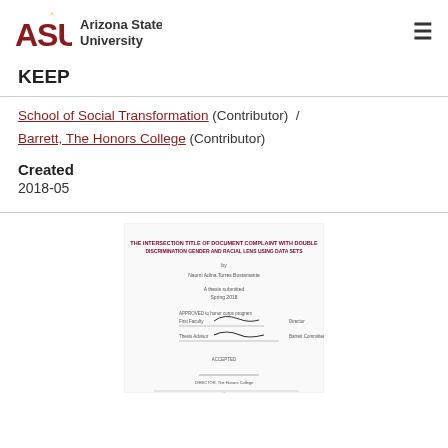[Figure (logo): Arizona State University logo with ASU sunburst emblem and text 'Arizona State University']
KEEP
School of Social Transformation (Contributor)  /  Barrett, The Honors College (Contributor)
Created
2018-05
[Figure (photo): Thumbnail image of document title page with signatures and text]